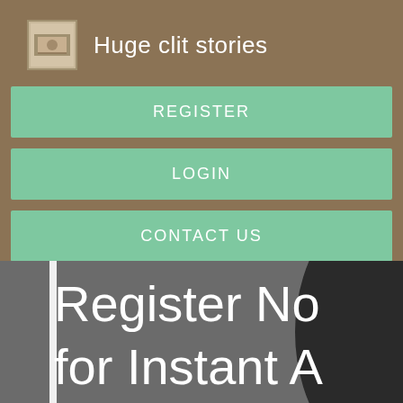Huge clit stories
REGISTER
LOGIN
CONTACT US
[Figure (screenshot): Website screenshot showing navigation menu with Register, Login, Contact Us buttons on brown background, and partial banner text 'Register Now for Instant Access']
Register No
for Instant A